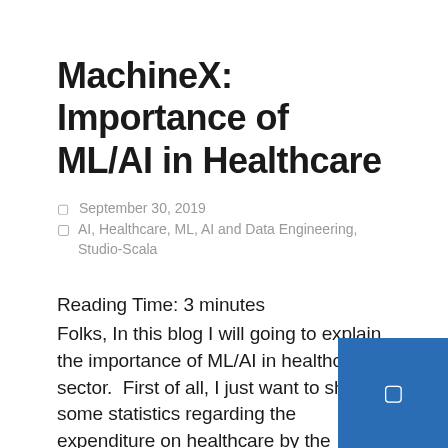MachineX: Importance of ML/AI in Healthcare
September 30, 2019
AI, Healthcare, ML, AI and Data Engineering, Studio-Scala
Reading Time: 3 minutes
Folks, In this blog I will going to explain the importance of ML/AI in healthcare sector.  First of all, I just want to share some statistics regarding the expenditure on healthcare by the people of different countries. Here is a list of a few BRICS and newly industrialized nations with their per capita expenditure on health. Here w can see in case of India only
Continue Reading →